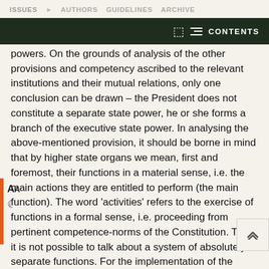ISSUES ▶ AUTHORS   GUIDELINES   ARCHIVE
powers. On the grounds of analysis of the other provisions and competency ascribed to the relevant institutions and their mutual relations, only one conclusion can be drawn – the President does not constitute a separate state power, he or she forms a branch of the executive state power. In analysing the above-mentioned provision, it should be borne in mind that by higher state organs we mean, first and foremost, their functions in a material sense, i.e. the main actions they are entitled to perform (the main function). The word 'activities' refers to the exercise of functions in a formal sense, i.e. proceeding from pertinent competence-norms of the Constitution. Thus, it is not possible to talk about a system of absolutely separate functions. For the implementation of the corresponding main function, the holder of that function is